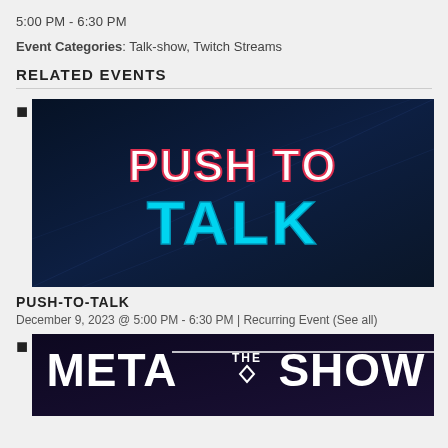5:00 PM - 6:30 PM
Event Categories: Talk-show, Twitch Streams
RELATED EVENTS
Push to Talk image
[Figure (photo): Push To Talk event banner: dark blue background with 'PUSH TO' in white/red stylized text and 'TALK' in large cyan stylized text]
PUSH-TO-TALK
December 9, 2023 @ 5:00 PM - 6:30 PM | Recurring Event (See all)
Meta The Show image
[Figure (photo): Meta The Show event banner: dark background with 'META THE SHOW' text logo in white]